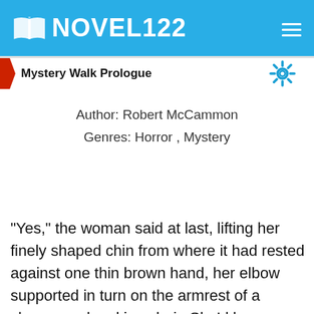NOVEL122
Mystery Walk Prologue
Author: Robert McCammon
Genres: Horror , Mystery
"Yes," the woman said at last, lifting her finely shaped chin from where it had rested against one thin brown hand, her elbow supported in turn on the armrest of a cherrywood rocking chair. She'd been staring into the fire as the two rawboned men in their patched overcoats and scuffed workboots had been talking. Though she was outwardly thin and fragile, the woman had deep-set hazel eyes that